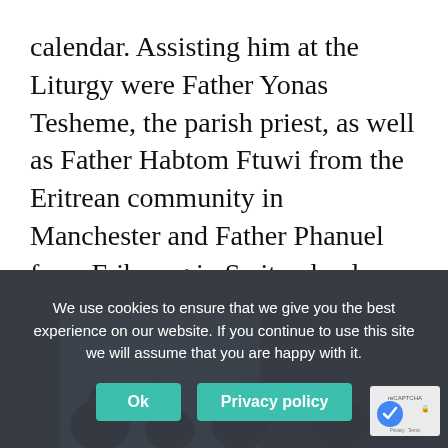calendar. Assisting him at the Liturgy were Father Yonas Tesheme, the parish priest, as well as Father Habtom Ftuwi from the Eritrean community in Manchester and Father Phanuel from Fribourg in Switzerland. During the liturgy Abba Seraphim ordained four of the congregation to the rank of Epsaltos: Nahom Mussie, Habtom Kibron, Ebenezer Woldu and Msgna Gebrhiwot. Following the liturgy they were joined by clergy from local churches who came to enjoy the traditional celebrations and the award of certificates to high-achieving Sunday School pupils.
[Figure (screenshot): Cookie consent banner overlay on a photo background. Banner reads: 'We use cookies to ensure that we give you the best experience on our website. If you continue to use this site we will assume that you are happy with it.' with 'Ok' and 'Privacy policy' buttons. A reCAPTCHA badge appears in the bottom right corner.]